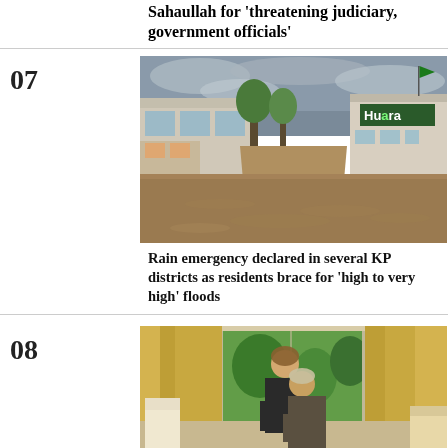Sahaullah for 'threatening judiciary, government officials'
07
[Figure (photo): Flooded street with commercial buildings on both sides, brown floodwater filling the road, overcast sky, a sign reading 'Huara' visible on the right building.]
Rain emergency declared in several KP districts as residents brace for 'high to very high' floods
08
[Figure (photo): Two men embracing indoors near large glass doors opening to a garden, one man appears to be comforting the other, gold curtains visible, elegant chairs in background.]